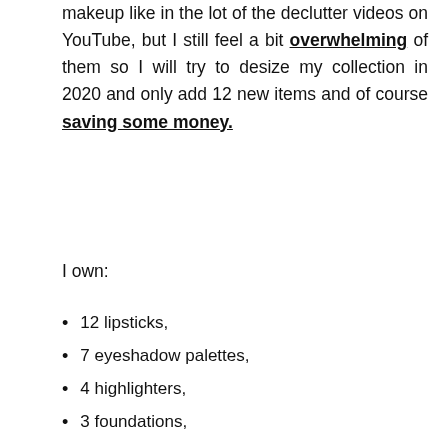makeup like in the lot of the declutter videos on YouTube, but I still feel a bit overwhelming of them so I will try to desize my collection in 2020 and only add 12 new items and of course saving some money.
I own:
12 lipsticks,
7 eyeshadow palettes,
4 highlighters,
3 foundations,
3 blushes,
3 mascaras,
3 bronzers,
3 eyeliners,
3 lipliners,
3 concealers
2 faceprimers,